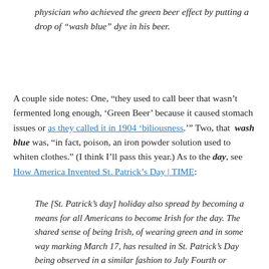physician who achieved the green beer effect by putting a drop of “wash blue” dye in his beer.
A couple side notes: One, “they used to call beer that wasn’t fermented long enough, ‘Green Beer’ because it caused stomach issues or as they called it in 1904 ‘biliousness.’” Two, that wash blue was, “in fact, poison, an iron powder solution used to whiten clothes.” (I think I’ll pass this year.) As to the day, see How America Invented St. Patrick’s Day | TIME:
The [St. Patrick’s day] holiday also spread by becoming a means for all Americans to become Irish for the day. The shared sense of being Irish, of wearing green and in some way marking March 17, has resulted in St. Patrick’s Day being observed in a similar fashion to July Fourth or Halloween. It’s the closest thing in America to National Immigrant Day, a tribute not only to the Irish